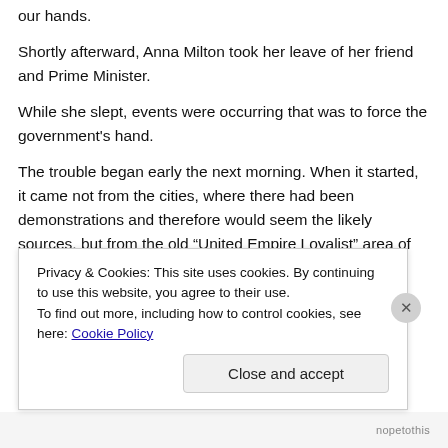our hands.
Shortly afterward, Anna Milton took her leave of her friend and Prime Minister.
While she slept, events were occurring that was to force the government's hand.
The trouble began early the next morning. When it started, it came not from the cities, where there had been demonstrations and therefore would seem the likely sources, but from the old “United Empire Loyalist” area of eastern Yorkland. This area had a history dating back to
Privacy & Cookies: This site uses cookies. By continuing to use this website, you agree to their use.
To find out more, including how to control cookies, see here: Cookie Policy
Close and accept